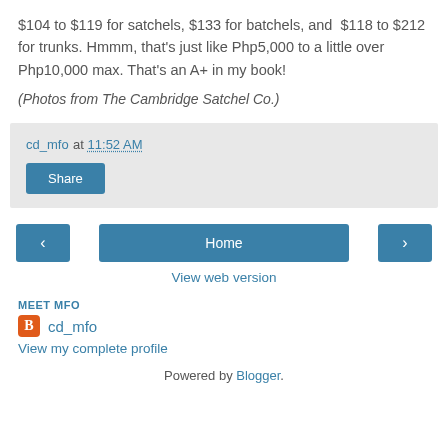$104 to $119 for satchels, $133 for batchels, and $118 to $212 for trunks. Hmmm, that's just like Php5,000 to a little over Php10,000 max. That's an A+ in my book!
(Photos from The Cambridge Satchel Co.)
cd_mfo at 11:52 AM
Share
< Home >
View web version
MEET MFO
cd_mfo
View my complete profile
Powered by Blogger.